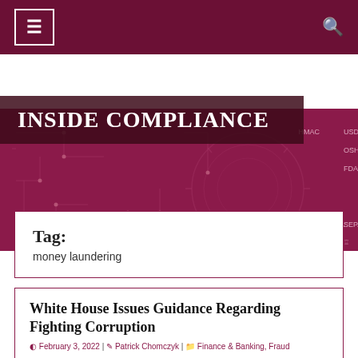≡  [Inside Compliance navigation bar]  🔍
[Figure (illustration): Inside Compliance website banner with dark crimson/maroon background, circuit board pattern overlay, agency labels (USDA, OSHA, FDA, FINRA, SEPA) on right side]
INSIDE COMPLIANCE
Tag:
money laundering
White House Issues Guidance Regarding Fighting Corruption
February 3, 2022 | Patrick Chomczyk | Finance & Banking, Fraud